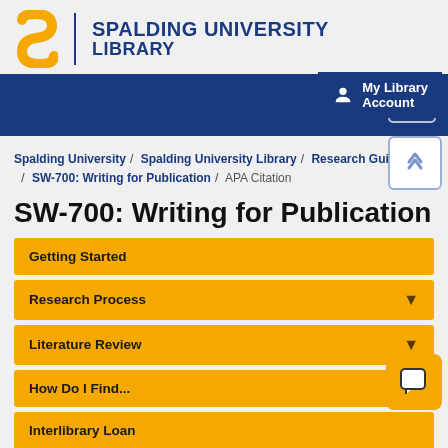[Figure (logo): Spalding University Library logo with stylized S in gold/yellow and blue text]
SPALDING UNIVERSITY LIBRARY
My Library Account
Spalding University / Spalding University Library / Research Guides / SW-700: Writing for Publication / APA Citation
SW-700: Writing for Publication
Getting Started
Research Process
Literature Review
How Do I Find...
Interlibrary Loan